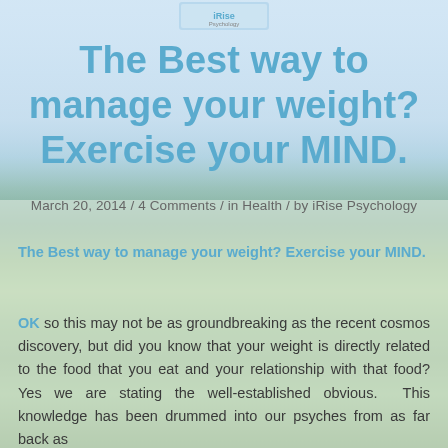[Figure (logo): iRise Psychology logo/banner at top center]
The Best way to manage your weight? Exercise your MIND.
March 20, 2014 / 4 Comments / in Health / by iRise Psychology
The Best way to manage your weight? Exercise your MIND.
OK so this may not be as groundbreaking as the recent cosmos discovery, but did you know that your weight is directly related to the food that you eat and your relationship with that food? Yes we are stating the well-established obvious.  This knowledge has been drummed into our psyches from as far back as